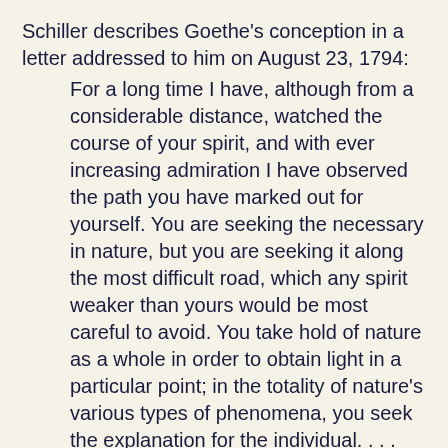Schiller describes Goethe's conception in a letter addressed to him on August 23, 1794: For a long time I have, although from a considerable distance, watched the course of your spirit, and with ever increasing admiration I have observed the path you have marked out for yourself. You are seeking the necessary in nature, but you are seeking it along the most difficult road, which any spirit weaker than yours would be most careful to avoid. You take hold of nature as a whole in order to obtain light in a particular point; in the totality of nature's various types of phenomena, you seek the explanation for the individual. . . . Had you been born a Greek, or even an Italian, and from the cradle been surrounded by an exquisite nature and an idealizing art, your path would have been infinitely shortened; perhaps it would have been made entirely unnecessary. With the first perception of things you would have caught the form of the